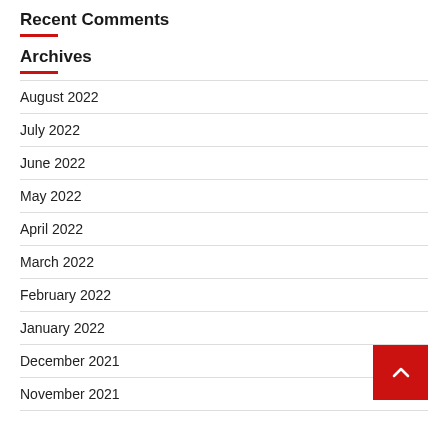Recent Comments
Archives
August 2022
July 2022
June 2022
May 2022
April 2022
March 2022
February 2022
January 2022
December 2021
November 2021